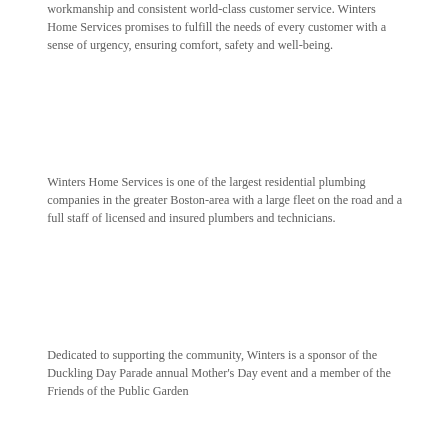workmanship and consistent world-class customer service. Winters Home Services promises to fulfill the needs of every customer with a sense of urgency, ensuring comfort, safety and well-being.
Winters Home Services is one of the largest residential plumbing companies in the greater Boston-area with a large fleet on the road and a full staff of licensed and insured plumbers and technicians.
Dedicated to supporting the community, Winters is a sponsor of the Duckling Day Parade annual Mother's Day event and a member of the Friends of the Public Garden...